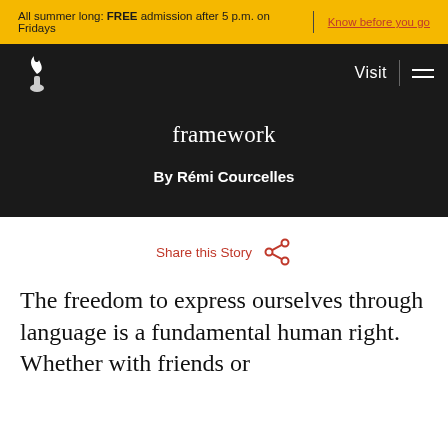All summer long: FREE admission after 5 p.m. on Fridays | Know before you go
Visit
framework
By Rémi Courcelles
Share this Story
The freedom to express ourselves through language is a fundamental human right. Whether with friends or